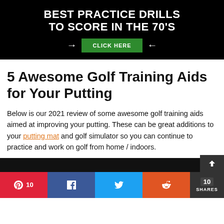[Figure (infographic): Black banner advertisement with white bold text 'BEST PRACTICE DRILLS TO SCORE IN THE 70'S', a green 'CLICK HERE' button in the center with white arrows pointing to it from left and right.]
5 Awesome Golf Training Aids for Your Putting
Below is our 2021 review of some awesome golf training aids aimed at improving your putting. These can be great additions to your putting mat and golf simulator so you can continue to practice and work on golf from home / indoors.
[Figure (screenshot): Bottom strip of a video thumbnail, dark/black background, partially visible.]
Social share bar with Pinterest (10 shares), Facebook, Twitter, Reddit buttons, and a total share count of 10 SHARES.